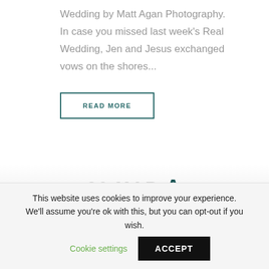Wedding by Matt Agan Photography. In case you missed last week's Real Wedding, Jen and Jesus exchanged vows on the shores...
READ MORE
26 MAR A
This website uses cookies to improve your experience. We'll assume you're ok with this, but you can opt-out if you wish.
Cookie settings
ACCEPT